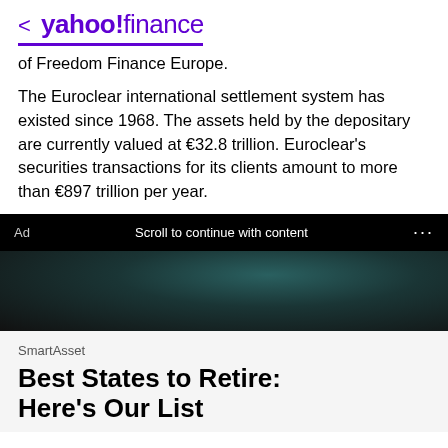< yahoo!finance
of Freedom Finance Europe.
The Euroclear international settlement system has existed since 1968. The assets held by the depositary are currently valued at €32.8 trillion. Euroclear's securities transactions for its clients amount to more than €897 trillion per year.
[Figure (photo): Ad banner with photo of a person in teal/blue clothing against a dark background. Ad bar reads 'Ad  Scroll to continue with content  ...']
SmartAsset
Best States to Retire: Here's Our List